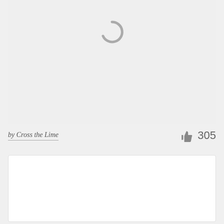[Figure (other): Loading spinner icon centered in a light gray card area]
by Cross the Lime
305
[Figure (other): White card / content area below the meta row]